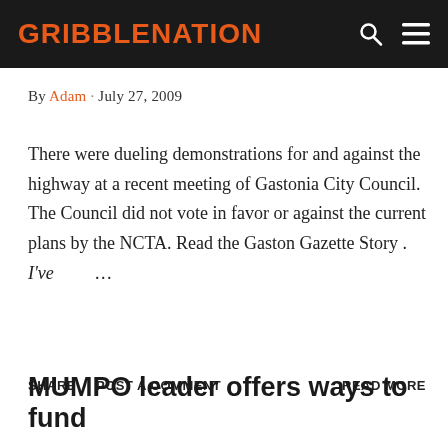GRIBBLENATION
By Adam · July 27, 2009
There were dueling demonstrations for and against the highway at a recent meeting of Gastonia City Council. The Council did not vote in favor or against the current plans by the NCTA. Read the Gaston Gazette Story . I've …
SHARE   POST A COMMENT   READ MORE
MUMPO leader offers ways to fund